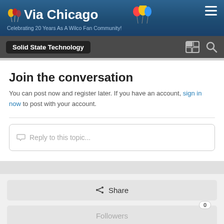Via Chicago — Celebrating 20 Years As A Wilco Fan Community!
Solid State Technology
Join the conversation
You can post now and register later. If you have an account, sign in now to post with your account.
Reply to this topic...
Share
Followers 0